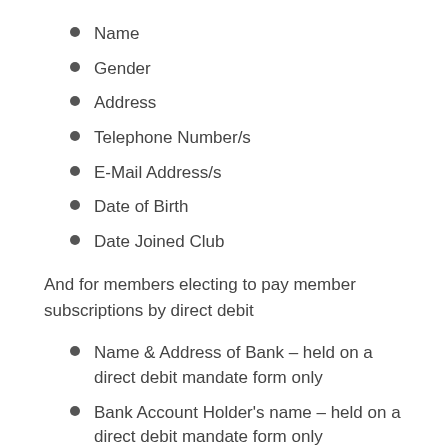Name
Gender
Address
Telephone Number/s
E-Mail Address/s
Date of Birth
Date Joined Club
And for members electing to pay member subscriptions by direct debit
Name & Address of Bank – held on a direct debit mandate form only
Bank Account Holder's name – held on a direct debit mandate form only
Sort Code